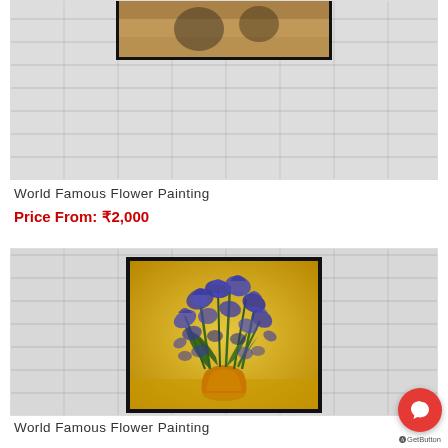[Figure (photo): Partial view of a painting in a frame displayed against a brick wall background (cropped at top)]
World Famous Flower Painting
Price From: ₹2,000
[Figure (photo): Van Gogh style irises painting — bouquet of blue/purple iris flowers in a yellow vase on golden-yellow background, displayed in a black frame against a brick wall background]
World Famous Flower Painting